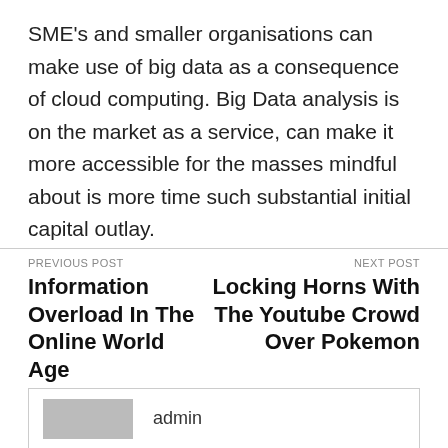SME's and smaller organisations can make use of big data as a consequence of cloud computing. Big Data analysis is on the market as a service, can make it more accessible for the masses mindful about is more time such substantial initial capital outlay.
PREVIOUS POST
Information Overload In The Online World Age
NEXT POST
Locking Horns With The Youtube Crowd Over Pokemon
admin